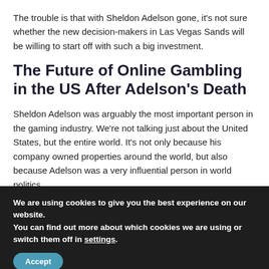The trouble is that with Sheldon Adelson gone, it's not sure whether the new decision-makers in Las Vegas Sands will be willing to start off with such a big investment.
The Future of Online Gambling in the US After Adelson's Death
Sheldon Adelson was arguably the most important person in the gaming industry. We're not talking just about the United States, but the entire world. It's not only because his company owned properties around the world, but also because Adelson was a very influential person in world politics.
We are using cookies to give you the best experience on our website.
You can find out more about which cookies we are using or switch them off in settings.